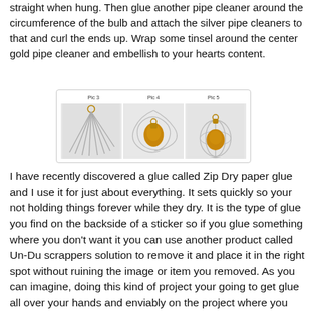straight when hung. Then glue another pipe cleaner around the circumference of the bulb and attach the silver pipe cleaners to that and curl the ends up. Wrap some tinsel around the center gold pipe cleaner and embellish to your hearts content.
[Figure (photo): Three photos labeled Pic 3, Pic 4, Pic 5 showing steps of making a decorative ornament with pipe cleaners. Pic 3 shows silver pipe cleaners fanned out. Pic 4 shows a gold ornament bulb with curled silver pipe cleaners. Pic 5 shows the finished ornament cage around a gold bulb.]
I have recently discovered a glue called Zip Dry paper glue and I use it for just about everything. It sets quickly so your not holding things forever while they dry. It is the type of glue you find on the backside of a sticker so if you glue something where you don't want it you can use another product called Un-Du scrappers solution to remove it and place it in the right spot without ruining the image or item you removed. As you can imagine, doing this kind of project your going to get glue all over your hands and enviably on the project where you don't want it. However you can use the Un-Du to clean up your project too.